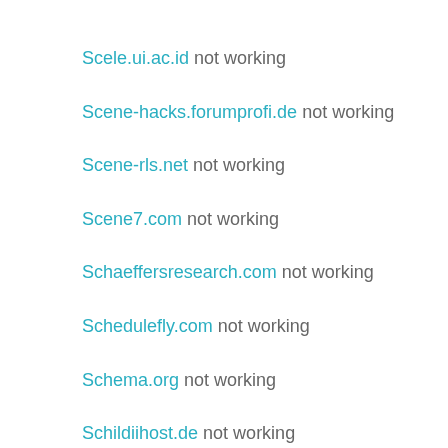Scele.ui.ac.id not working
Scene-hacks.forumprofi.de not working
Scene-rls.net not working
Scene7.com not working
Schaeffersresearch.com not working
Schedulefly.com not working
Schema.org not working
Schildiihost.de not working
Schmiedmann.com not working